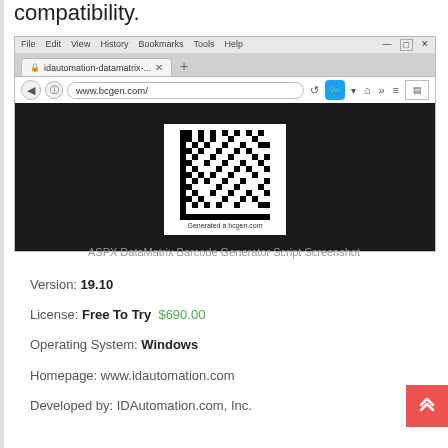compatibility.
[Figure (screenshot): Browser screenshot showing ASPX DataMatrix Barcode Generator at www.bcgen.com/, with a DataMatrix barcode displayed on a black background with watermark text 'Generated a bcgen.com']
ASPX DataMatrix Barcode Generator Script Screenshot
Version: 19.10
License: Free To Try  $690.00
Operating System: Windows
Homepage: www.idautomation.com
Developed by: IDAutomation.com, Inc.